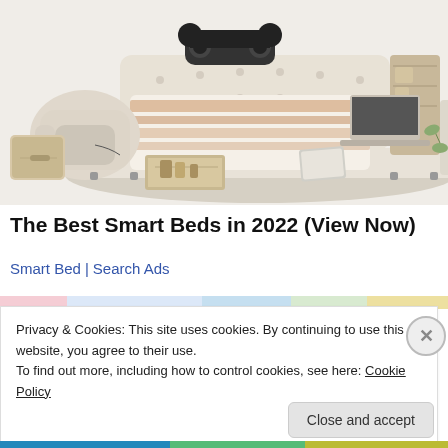[Figure (photo): A large multi-functional smart bed with cream/beige upholstery, featuring built-in storage drawers, a massage chair on the left side, speakers/audio system at the headboard, a laptop stand, and various other integrated features. The bed frame is shown in an exploded/open configuration revealing multiple storage compartments.]
The Best Smart Beds in 2022 (View Now)
Smart Bed | Search Ads
Privacy & Cookies: This site uses cookies. By continuing to use this website, you agree to their use.
To find out more, including how to control cookies, see here: Cookie Policy